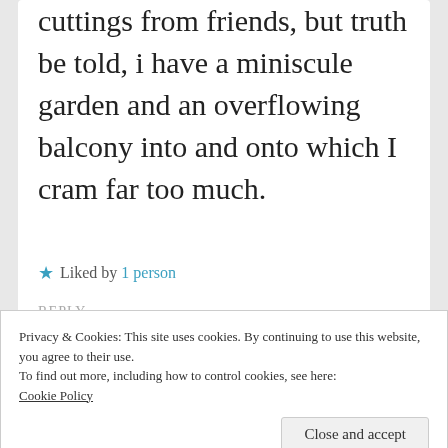cuttings from friends, but truth be told, i have a miniscule garden and an overflowing balcony into and onto which I cram far too much.
★ Liked by 1 person
REPLY
Privacy & Cookies: This site uses cookies. By continuing to use this website, you agree to their use.
To find out more, including how to control cookies, see here: Cookie Policy
Close and accept
understand about changing